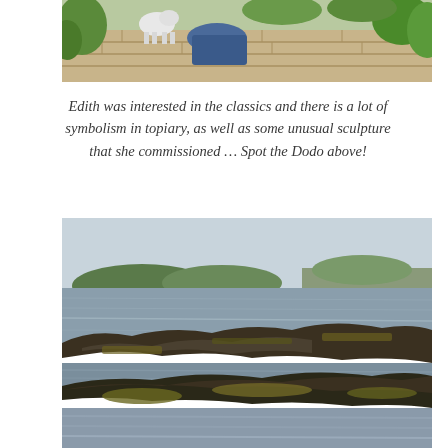[Figure (photo): Top portion of a garden scene showing a stone structure with a white animal (possibly a dog or sheep) figure on it, surrounded by greenery.]
Edith was interested in the classics and there is a lot of symbolism in topiary, as well as some unusual sculpture that she commissioned … Spot the Dodo above!
[Figure (photo): Coastal landscape photograph showing rocky shoreline with dark rocks exposed at low tide, calm sea water, and a town with trees visible on the far shore under a hazy sky.]